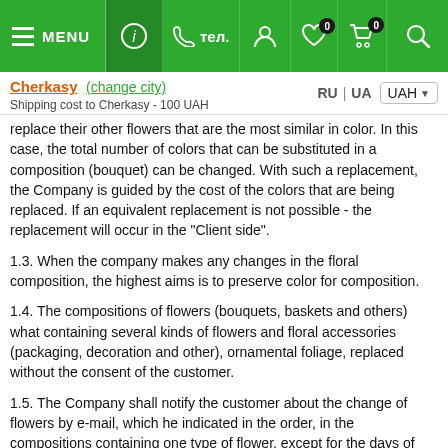MENU | тел. | [user icon] | [heart icon] 0 | [cart icon] 0 | [search icon]
Cherkasy (change city)
Shipping cost to Cherkasy - 100 UAH
replace their other flowers that are the most similar in color. In this case, the total number of colors that can be substituted in a composition (bouquet) can be changed. With such a replacement, the Company is guided by the cost of the colors that are being replaced. If an equivalent replacement is not possible - the replacement will occur in the "Client side".
1.3. When the company makes any changes in the floral composition, the highest aims is to preserve color for composition.
1.4. The compositions of flowers (bouquets, baskets and others) what containing several kinds of flowers and floral accessories (packaging, decoration and other), ornamental foliage, replaced without the consent of the customer.
1.5. The Company shall notify the customer about the change of flowers by e-mail, which he indicated in the order, in the compositions containing one type of flower, except for the days of mass demand for flowers (it's 13th-15th of February and 7th-9th of March). If in the near future, the Company hasn't received a response from the Customer, the replacement is carried out without the consent of the Client.
1.6. If the shop does not have the necessary greenery for the bouquet, it can be replaced with another type of greenery without the customer's consent, or the florist will create a bouquet without greenery, but it will